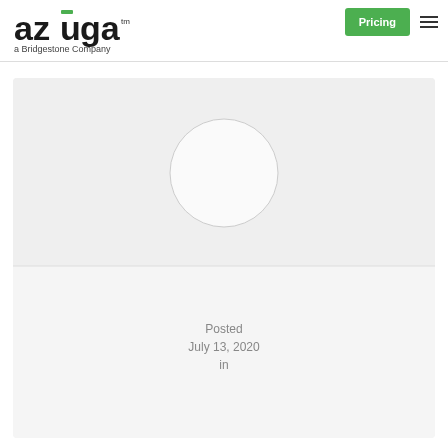[Figure (logo): Azuga logo with green bar over the u, subtitle 'a Bridgestone Company']
[Figure (other): Green 'Pricing' button and hamburger menu icon in header]
[Figure (illustration): Gray card with a light circle placeholder image on top half]
Posted
July 13, 2020
in